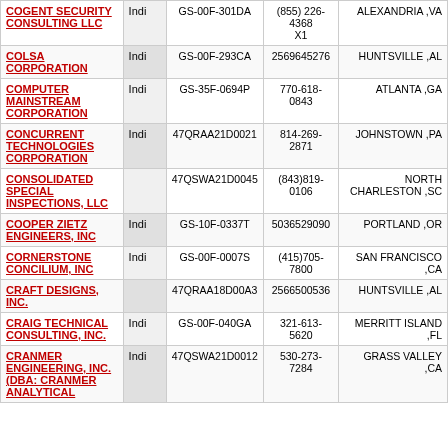| Company | Type | Contract Number | Phone | Location |
| --- | --- | --- | --- | --- |
| COGENT SECURITY CONSULTING LLC | Indi | GS-00F-301DA | (855) 226-4368 X1 | ALEXANDRIA ,VA |
| COLSA CORPORATION | Indi | GS-00F-293CA | 2569645276 | HUNTSVILLE ,AL |
| COMPUTER MAINSTREAM CORPORATION | Indi | GS-35F-0694P | 770-618-0843 | ATLANTA ,GA |
| CONCURRENT TECHNOLOGIES CORPORATION | Indi | 47QRAA21D0021 | 814-269-2871 | JOHNSTOWN ,PA |
| CONSOLIDATED SPECIAL INSPECTIONS, LLC |  | 47QSWA21D0045 | (843)819-0106 | NORTH CHARLESTON ,SC |
| COOPER ZIETZ ENGINEERS, INC | Indi | GS-10F-0337T | 5036529090 | PORTLAND ,OR |
| CORNERSTONE CONCILIUM, INC | Indi | GS-00F-0007S | (415)705-7800 | SAN FRANCISCO ,CA |
| CRAFT DESIGNS, INC. |  | 47QRAA18D00A3 | 2566500536 | HUNTSVILLE ,AL |
| CRAIG TECHNICAL CONSULTING, INC. | Indi | GS-00F-040GA | 321-613-5620 | MERRITT ISLAND ,FL |
| CRANMER ENGINEERING, INC. (DBA: CRANMER ANALYTICAL | Indi | 47QSWA21D0012 | 530-273-7284 | GRASS VALLEY ,CA |